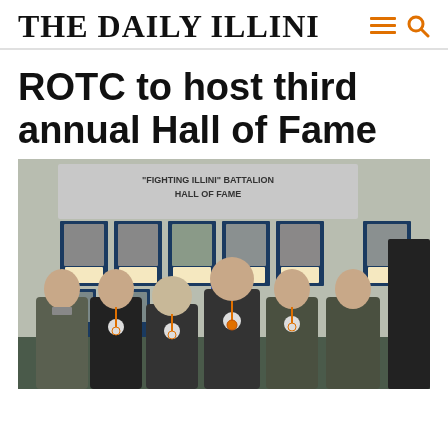THE DAILY ILLINI
ROTC to host third annual Hall of Fame
[Figure (photo): Group of six people standing in front of the 'Fighting Illini Battalion Hall of Fame' display. They are wearing orange and blue medals/ribbons. Several are in military uniforms. Framed inductee portraits are visible on the wall behind them.]